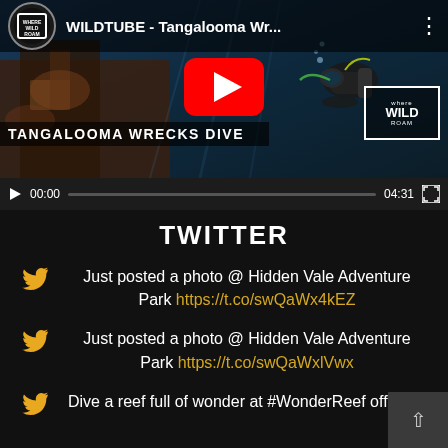[Figure (screenshot): Embedded YouTube video player showing WILDTUBE Tangalooma Wrecks Dive video. Thumbnail shows an underwater scene with a scuba diver and wreck. Video title bar shows channel logo and 'WILDTUBE - Tangalooma Wr...' with a menu icon. Large red YouTube play button overlay. Caption bar reads 'TANGALOOMA WRECKS DIVE'. Where Wild Roam watermark in bottom right. Controls show: play button, 00:00 timestamp, progress bar, 04:31 duration, fullscreen button.]
TWITTER
Just posted a photo @ Hidden Vale Adventure Park https://t.co/swQaWx4kEZ
Just posted a photo @ Hidden Vale Adventure Park https://t.co/swQaWxlVwx
Dive a reef full of wonder at #WonderReef off